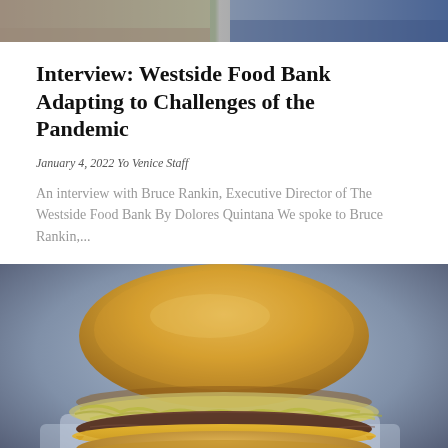[Figure (photo): Top banner image showing people, partially cropped, blue and warm tones]
Interview: Westside Food Bank Adapting to Challenges of the Pandemic
January 4, 2022 Yo Venice Staff
An interview with Bruce Rankin, Executive Director of The Westside Food Bank By Dolores Quintana We spoke to Bruce Rankin,...
[Figure (photo): Close-up photo of a large burger with a golden bun, cheese, meat and shredded lettuce on a blue/grey background]